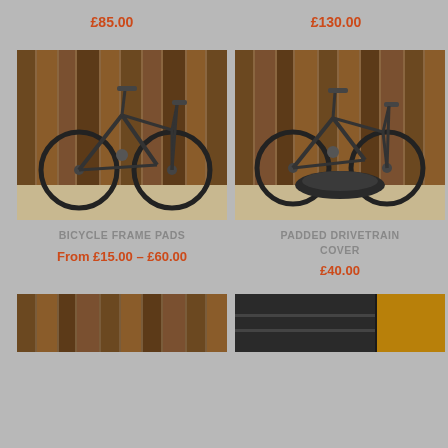£85.00
£130.00
[Figure (photo): Mountain bike (hardtail, black carbon frame) leaning against a dark wood fence panel, side view]
[Figure (photo): Mountain bike (full suspension, dark frame) leaning against a dark wood fence panel, with a black padded drivetrain cover bag on the ground in front, side view]
BICYCLE FRAME PADS
PADDED DRIVETRAIN COVER
From £15.00 – £60.00
£40.00
[Figure (photo): Partial view of a wooden fence/panel product at the bottom left]
[Figure (photo): Partial view of a dark padded cycling bag/cover product at the bottom right]